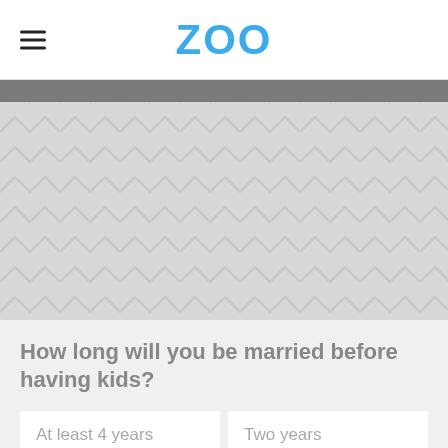ZOO
[Figure (photo): Large gray placeholder image area with a herringbone/chevron pattern texture in light gray]
How long will you be married before having kids?
At least 4 years
Two years